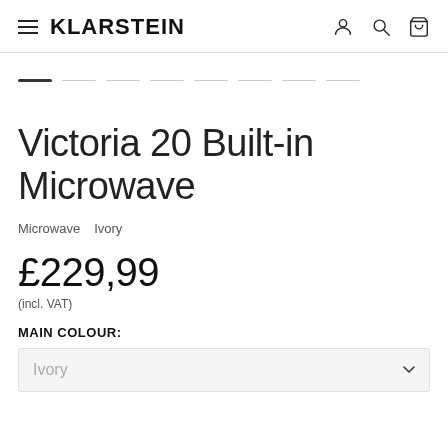KLARSTEIN
[Figure (other): Image carousel progress indicators - one active dark bar and multiple light grey bars]
Victoria 20 Built-in Microwave
Microwave   Ivory
£229,99
(incl. VAT)
MAIN COLOUR:
Ivory